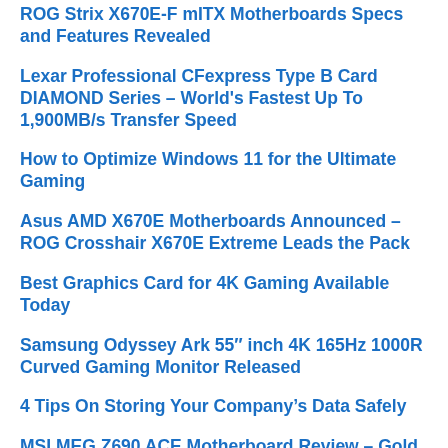ROG Strix X670E-F mITX Motherboards Specs and Features Revealed
Lexar Professional CFexpress Type B Card DIAMOND Series – World's Fastest Up To 1,900MB/s Transfer Speed
How to Optimize Windows 11 for the Ultimate Gaming
Asus AMD X670E Motherboards Announced – ROG Crosshair X670E Extreme Leads the Pack
Best Graphics Card for 4K Gaming Available Today
Samsung Odyssey Ark 55″ inch 4K 165Hz 1000R Curved Gaming Monitor Released
4 Tips On Storing Your Company's Data Safely
MSI MEG Z690 ACE Motherboard Review – Gold and Black Replaces RGB